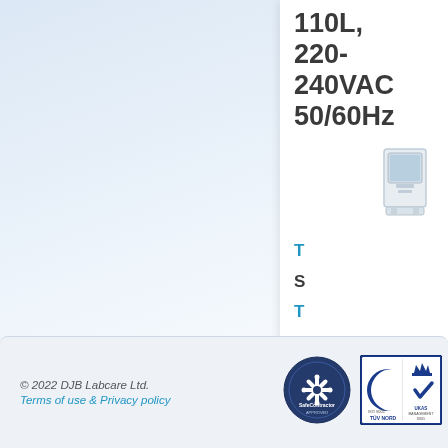[Figure (other): White right-side panel showing product specification text '110L, 220-240VAC 50/60Hz', a small product image of a laboratory cabinet, and vertical single letters T, S, T, A, 5, V]
[Figure (logo): SafeContractor Approved badge/seal]
[Figure (logo): TUV NORD ISO 9001 and UKAS Management Systems D065 certification logos]
© 2022 DJB Labcare Ltd. Terms of use & Privacy policy